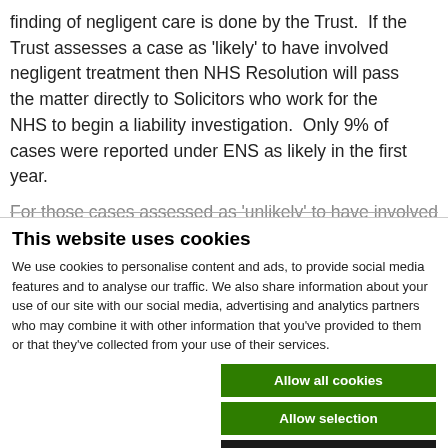finding of negligent care is done by the Trust. If the Trust assesses a case as 'likely' to have involved negligent treatment then NHS Resolution will pass the matter directly to Solicitors who work for the NHS to begin a liability investigation. Only 9% of cases were reported under ENS as likely in the first year.
For those cases assessed as 'unlikely' to have involved
This website uses cookies
We use cookies to personalise content and ads, to provide social media features and to analyse our traffic. We also share information about your use of our site with our social media, advertising and analytics partners who may combine it with other information that you've provided to them or that they've collected from your use of their services.